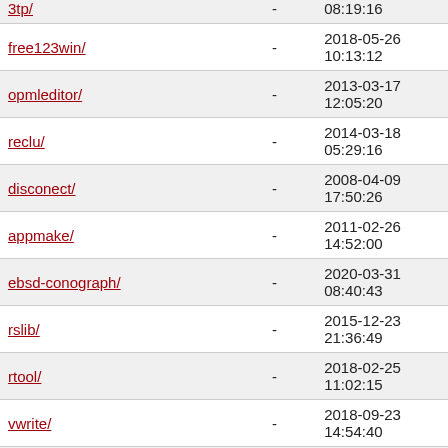| Name | Size | Date |
| --- | --- | --- |
| 3tp/ | - | 08:19:16 |
| free123win/ | - | 2018-05-26 10:13:12 |
| opmleditor/ | - | 2013-03-17 12:05:20 |
| reclu/ | - | 2014-03-18 05:29:16 |
| disconect/ | - | 2008-04-09 17:50:26 |
| appmake/ | - | 2011-02-26 14:52:00 |
| ebsd-conograph/ | - | 2020-03-31 08:40:43 |
| rslib/ | - | 2015-12-23 21:36:49 |
| rtool/ | - | 2018-02-25 11:02:15 |
| vwrite/ | - | 2018-09-23 14:54:40 |
| i3-remix/ | - | 2019-12-26 22:35:56 |
| kiwix/ | - | 2009-06-05 |